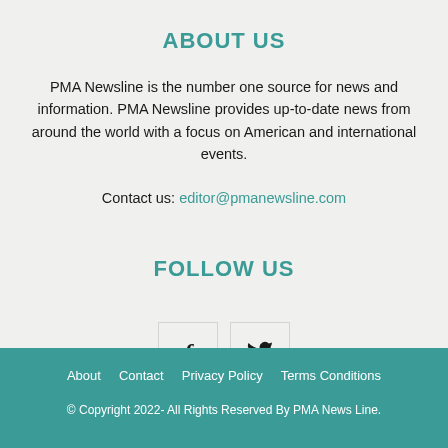ABOUT US
PMA Newsline is the number one source for news and information. PMA Newsline provides up-to-date news from around the world with a focus on American and international events.
Contact us: editor@pmanewsline.com
FOLLOW US
[Figure (other): Social media icons: Facebook (f) and Twitter (bird) in bordered boxes]
About   Contact   Privacy Policy   Terms Conditions
© Copyright 2022- All Rights Reserved By PMA News Line.